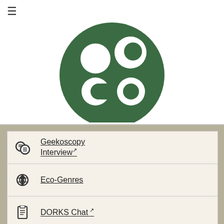[Figure (logo): Green circular logo with white letters 'co' visible, partial crop showing bottom half of circle logo on white background]
Geekoscopy Interview ↗
Eco-Genres
DORKS Chat ↗
Extinction Rebellion